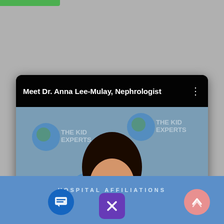[Figure (screenshot): YouTube-style video player screenshot showing Dr. Anna Lee-Mulay, Nephrologist, wearing a white lab coat in front of a 'The Kidney Experts' branded backdrop. A red YouTube play button is centered on the video. A name lower-third banner reads 'ANNA LEE-MULAY / NEPHROLOGIST' in teal. The video title bar reads 'Meet Dr. Anna Lee-Mulay, Nephrologist'. Below the video card is a blue bar showing 'HOSPITAL AFFILIATIONS' text with navigation buttons: a blue chat icon, a purple X close button, and a pink up-arrow button.]